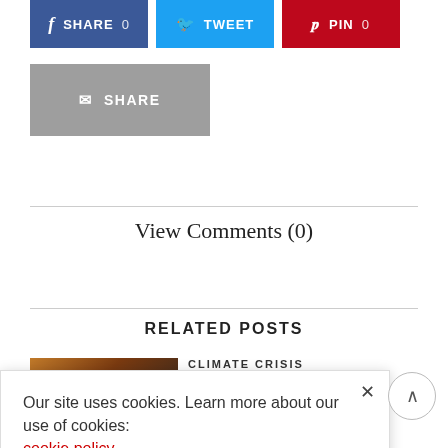[Figure (other): Social share buttons: Facebook SHARE 0, Twitter TWEET, Pinterest PIN 0]
[Figure (other): Email SHARE button (grey)]
View Comments (0)
RELATED POSTS
[Figure (photo): Thumbnail image for related post about climate crisis]
CLIMATE CRISIS
...bal crisis of ...r health
Our site uses cookies. Learn more about our use of cookies: cookie policy
I ACCEPT USE OF COOKIES
...ate a Wave of Climate 'Doomsism' – Mother ...